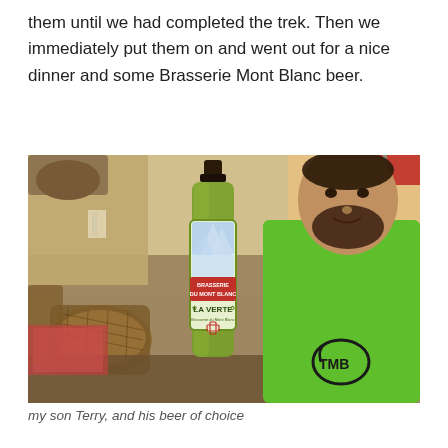them until we had completed the trek. Then we immediately put them on and went out for a nice dinner and some Brasserie Mont Blanc beer.
[Figure (photo): A man in a bright green TMB (Tour du Mont Blanc) t-shirt holding up a bottle of Brasserie du Mont Blanc 'La Verte' beer in a restaurant/café setting with wicker chairs visible in the background.]
my son Terry, and his beer of choice